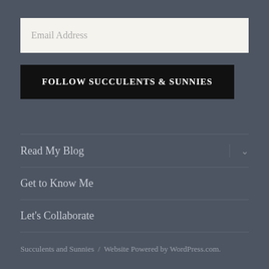Email Address
FOLLOW SUCCULENTS & SUNNIES
Read My Blog
Get to Know Me
Let's Collaborate
Succulents and Sunnies / Website Powered by WordPress.com.